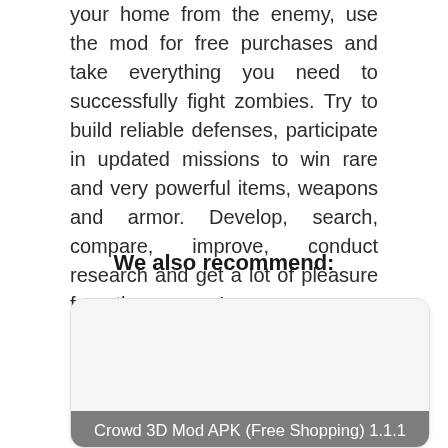your home from the enemy, use the mod for free purchases and take everything you need to successfully fight zombies. Try to build reliable defenses, participate in updated missions to win rare and very powerful items, weapons and armor. Develop, search, compare, improve, conduct research and get a lot of pleasure from the process!
We also recommend:
[Figure (other): Recommendation card for Crowd 3D Mod APK (Free Shopping) 1.1.1 with a grey image placeholder area and a grey label bar at the bottom]